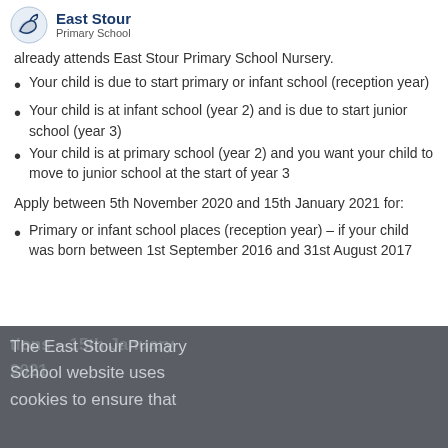East Stour Primary School
already attends East Stour Primary School Nursery.
Your child is due to start primary or infant school (reception year)
Your child is at infant school (year 2) and is due to start junior school (year 3)
Your child is at primary school (year 2) and you want your child to move to junior school at the start of year 3
Apply between 5th November 2020 and 15th January 2021 for:
Primary or infant school places (reception year) – if your child was born between 1st September 2016 and 31st August 2017
The East Stour Primary School website uses cookies to ensure that